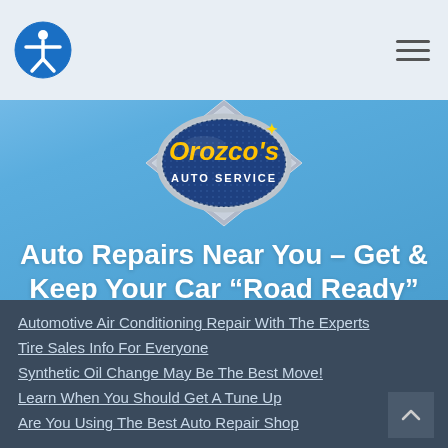[Figure (logo): Orozco's Auto Service logo - oval blue badge with yellow text on a diamond/chrome background]
Auto Repairs Near You – Get & Keep Your Car “Road Ready”
FIND A STORE
Automotive Air Conditioning Repair With The Experts
Tire Sales Info For Everyone
Synthetic Oil Change May Be The Best Move!
Learn When You Should Get A Tune Up
Are You Using The Best Auto Repair Shop